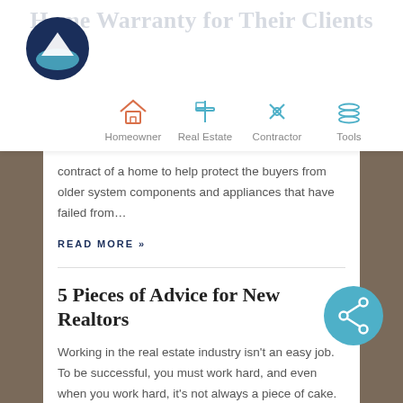Home Warranty for Their Clients
[Figure (logo): Dark blue circular logo with mountain and water silhouette]
[Figure (infographic): Navigation bar with icons: Homeowner (house), Real Estate (flag), Contractor (tools), Tools (layers), Login (person)]
contract of a home to help protect the buyers from older system components and appliances that have failed from…
READ MORE »
5 Pieces of Advice for New Realtors
Working in the real estate industry isn't an easy job. To be successful, you must work hard, and even when you work hard, it's not always a piece of cake. Deals fall through, your listings aren't showing, or you can't find the right clients. E…
READ MORE »